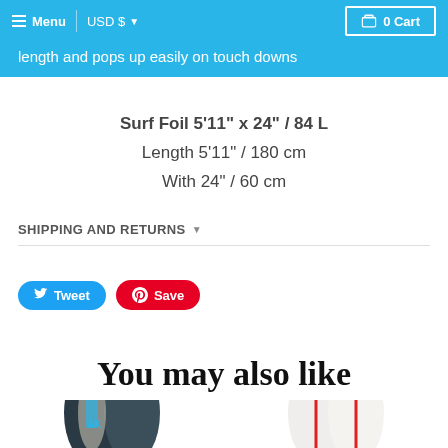Menu | USD $ | 0 Cart
length and pops up easily on touch downs
Surf Foil 5'11" x 24" / 84 L
Length 5'11" / 180 cm
With 24" / 60 cm
SHIPPING AND RETURNS
Tweet  Save
You may also like
[Figure (photo): Two surfboards shown from above - dark colored surf foil boards side by side]
[Figure (photo): Two white surfboards with red stripes shown from above]